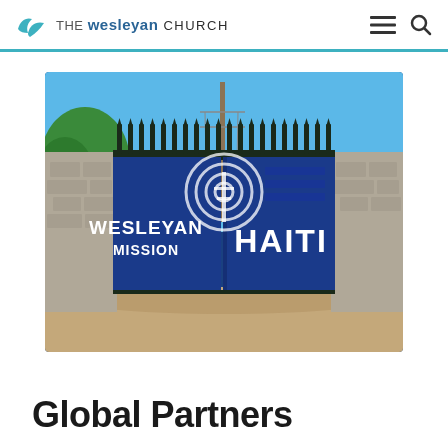THE Wesleyan CHURCH
[Figure (photo): Blue metal gate for Wesleyan Mission Haiti compound with white lettering reading WESLEYAN MISSION HAITI and a circular radio-tower logo, iron spear-top fence above, stone walls on either side, dirt driveway below, trees and utility pole visible behind]
Global Partners